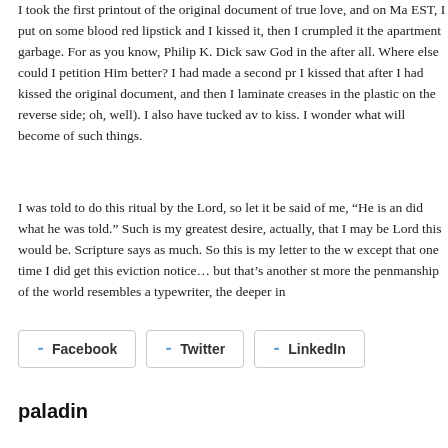I took the first printout of the original document of true love, and on Ma EST, I put on some blood red lipstick and I kissed it, then I crumpled it the apartment garbage. For as you know, Philip K. Dick saw God in the after all. Where else could I petition Him better? I had made a second pr I kissed that after I had kissed the original document, and then I laminate creases in the plastic on the reverse side; oh, well). I also have tucked av to kiss. I wonder what will become of such things.
I was told to do this ritual by the Lord, so let it be said of me, “He is an did what he was told.” Such is my greatest desire, actually, that I may be Lord this would be. Scripture says as much. So this is my letter to the w except that one time I did get this eviction notice… but that’s another st more the penmanship of the world resembles a typewriter, the deeper in
[Figure (other): Social sharing buttons: Facebook, Twitter, LinkedIn]
paladin